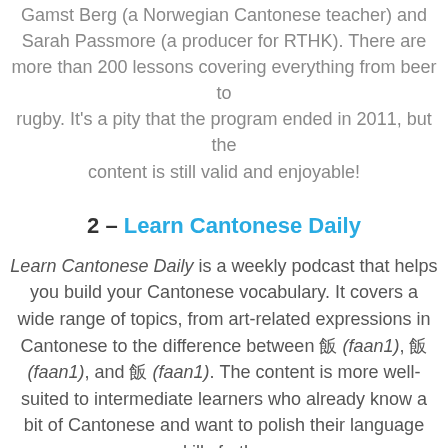Gamst Berg (a Norwegian Cantonese teacher) and Sarah Passmore (a producer for RTHK). There are more than 200 lessons covering everything from beer to rugby. It's a pity that the program ended in 2011, but the content is still valid and enjoyable!
2 – Learn Cantonese Daily
Learn Cantonese Daily is a weekly podcast that helps you build your Cantonese vocabulary. It covers a wide range of topics, from art-related expressions in Cantonese to the difference between 飯 (faan1), 飯 (faan1), and 飯 (faan1). The content is more well-suited to intermediate learners who already know a bit of Cantonese and want to polish their language skills further.